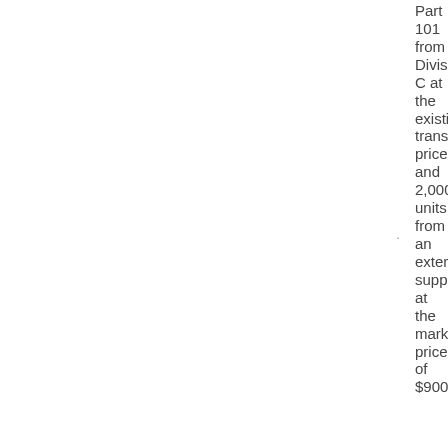Part 101 from Division C at the existing transfer price; and 2,000 units from an external supplier at the market price of $900